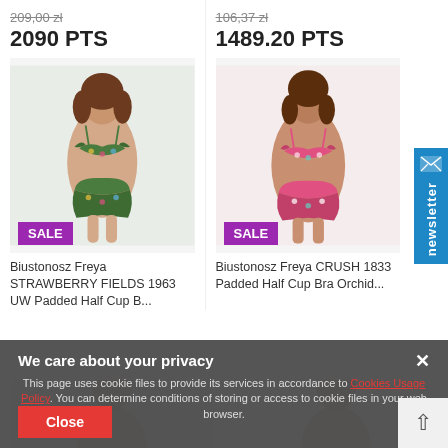209,00 zł (strikethrough)
2090 PTS
106,37 zł (strikethrough)
1489.20 PTS
[Figure (photo): Model wearing green floral print bikini set, with SALE badge]
[Figure (photo): Model wearing pink floral print bikini set, with SALE badge]
Biustonosz Freya STRAWBERRY FIELDS 1963 UW Padded Half Cup B...
Biustonosz Freya CRUSH 1833 Padded Half Cup Bra Orchid...
newsletter (sidebar tab)
We care about your privacy
This page uses cookie files to provide its services in accordance to Cookies Usage Policy. You can determine conditions of storing or access to cookie files in your web browser.
Close